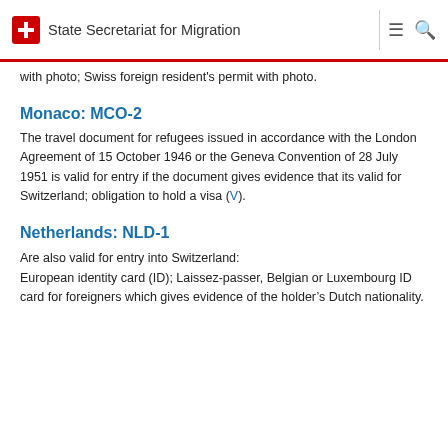State Secretariat for Migration
with photo; Swiss foreign resident's permit with photo.
Monaco: MCO-2
The travel document for refugees issued in accordance with the London Agreement of 15 October 1946 or the Geneva Convention of 28 July 1951 is valid for entry if the document gives evidence that its valid for Switzerland; obligation to hold a visa (V).
Netherlands: NLD-1
Are also valid for entry into Switzerland:
European identity card (ID); Laissez-passer, Belgian or Luxembourg ID card for foreigners which gives evidence of the holder’s Dutch nationality.